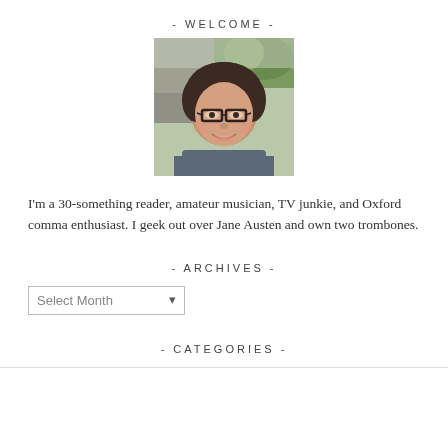- WELCOME -
[Figure (photo): Portrait photo of a smiling woman with curly brown hair and glasses, outdoors with green foliage and stone wall in background]
I'm a 30-something reader, amateur musician, TV junkie, and Oxford comma enthusiast. I geek out over Jane Austen and own two trombones.
- ARCHIVES -
Select Month
- CATEGORIES -